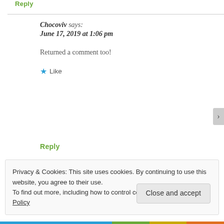Reply
Chocoviv says:
June 17, 2019 at 1:06 pm
Returned a comment too!
★ Like
Reply
Privacy & Cookies: This site uses cookies. By continuing to use this website, you agree to their use.
To find out more, including how to control cookies, see here: Cookie Policy
Close and accept